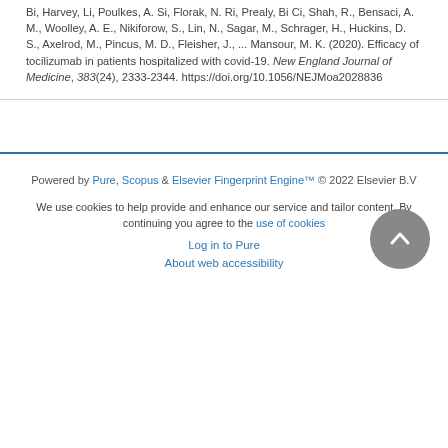Bi, Harvey, Li, Poulkes, A. Si, Florak, N. Ri, Prealy, Bi Ci, Shah, R., Bensaci, A. M., Woolley, A. E., Nikiforow, S., Lin, N., Sagar, M., Schrager, H., Huckins, D. S., Axelrod, M., Pincus, M. D., Fleisher, J., ... Mansour, M. K. (2020). Efficacy of tocilizumab in patients hospitalized with covid-19. New England Journal of Medicine, 383(24), 2333-2344. https://doi.org/10.1056/NEJMoa2028836
Powered by Pure, Scopus & Elsevier Fingerprint Engine™ © 2022 Elsevier B.V
We use cookies to help provide and enhance our service and tailor content. By continuing you agree to the use of cookies
Log in to Pure
About web accessibility